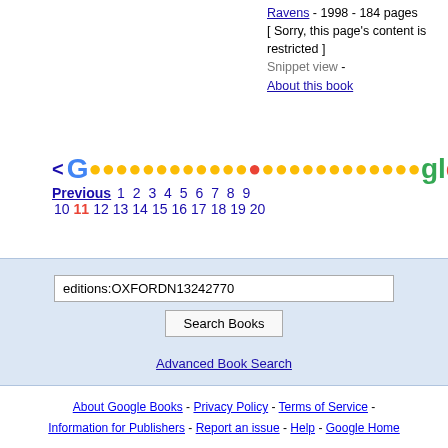Ravens - 1998 - 184 pages [ Sorry, this page's content is restricted ] Snippet view - About this book
[Figure (other): Google pagination row with colored circles and page numbers. Previous link, pages 1-20, current page 11 highlighted in red.]
editions:OXFORDN13242770
Search Books
Advanced Book Search
About Google Books - Privacy Policy - Terms of Service - Information for Publishers - Report an issue - Help - Google Home